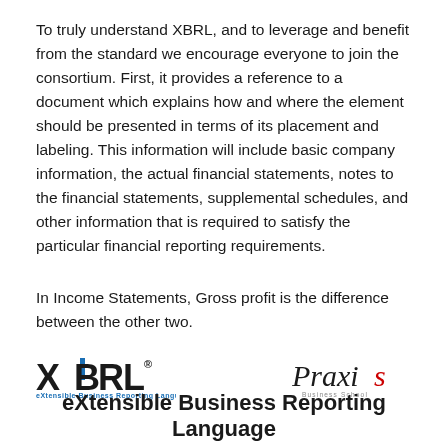To truly understand XBRL, and to leverage and benefit from the standard we encourage everyone to join the consortium. First, it provides a reference to a document which explains how and where the element should be presented in terms of its placement and labeling. This information will include basic company information, the actual financial statements, notes to the financial statements, supplemental schedules, and other information that is required to satisfy the particular financial reporting requirements.
In Income Statements, Gross profit is the difference between the other two.
[Figure (logo): XBRL logo (eXtensible Business Reporting Language) on the left and Praxis Business School logo on the right]
eXtensible Business Reporting Language